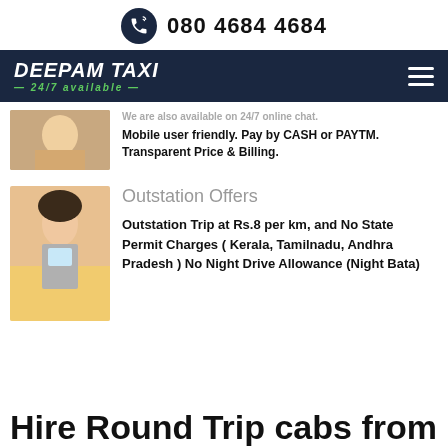080 4684 4684
[Figure (logo): Deepam Taxi logo with 24/7 available tagline on dark navy navigation bar]
We are also available on 24/7 online chat. Mobile user friendly. Pay by CASH or PAYTM. Transparent Price & Billing.
Outstation Offers
Outstation Trip at Rs.8 per km, and No State Permit Charges ( Kerala, Tamilnadu, Andhra Pradesh ) No Night Drive Allowance (Night Bata)
Hire Round Trip cabs from